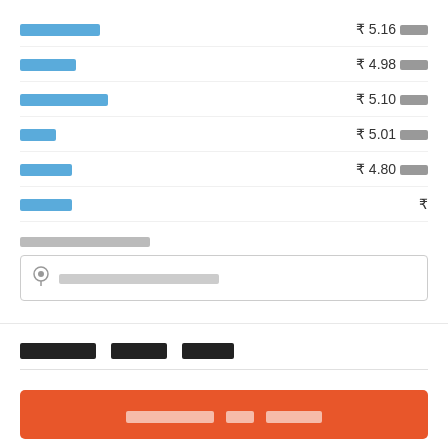██████████  ₹ 5.16 ████
███████  ₹ 4.98 ████
██████████  ₹ 5.10 ████
████  ₹ 5.01 ████
██████  ₹ 4.80 ████
██████  ₹
██ ████ █████████
█████████ ██████████
██████████ ███████ ██████
███████████ ███ ███████